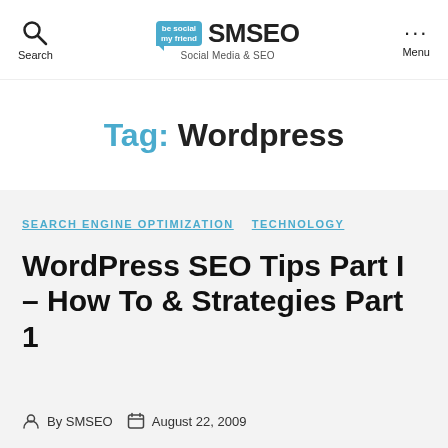Search | SMSEO Social Media & SEO | Menu
Tag: Wordpress
SEARCH ENGINE OPTIMIZATION  TECHNOLOGY
WordPress SEO Tips Part I – How To & Strategies Part 1
By SMSEO  August 22, 2009